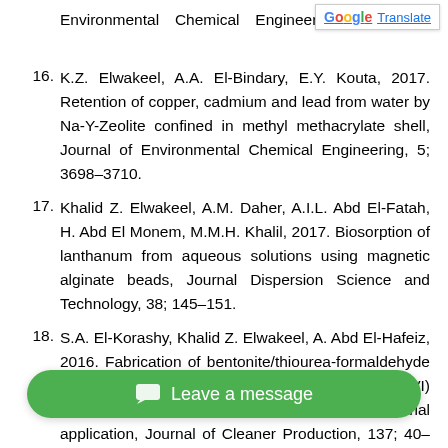Environmental Chemical Engineering, 5; 578–5[...]
16. K.Z. Elwakeel, A.A. El-Bindary, E.Y. Kouta, 2017. Retention of copper, cadmium and lead from water by Na-Y-Zeolite confined in methyl methacrylate shell, Journal of Environmental Chemical Engineering, 5; 3698–3710.
17. Khalid Z. Elwakeel, A.M. Daher, A.I.L. Abd El-Fatah, H. Abd El Monem, M.M.H. Khalil, 2017. Biosorption of lanthanum from aqueous solutions using magnetic alginate beads, Journal Dispersion Science and Technology, 38; 145–151.
18. S.A. El-Korashy, Khalid Z. Elwakeel, A. Abd El-Hafeiz, 2016. Fabrication of bentonite/thiourea-formaldehyde composite material for Pb(II), Mn(VII) and Cr(VI) sorption: A combined basic study and industrial application, Journal of Cleaner Production, 137; 40–50.
19. K.Z. Elwakeel, A.A. El-B[...], 2016. Adsorption of toxic acidic dye from aqueous solution